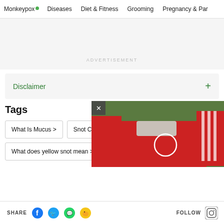Monkeypox | Diseases | Diet & Fitness | Grooming | Pregnancy & Par...
ADVERTISEMENT
Disclaimer +
Tags
What Is Mucus >
Snot Color Ch...
What does yellow snot mean >
[Figure (photo): Person in red Adidas shirt with a white circle overlay on chest area, video popup with close button]
SHARE | Facebook | Twitter | WhatsApp | Shareit | FOLLOW | Instagram